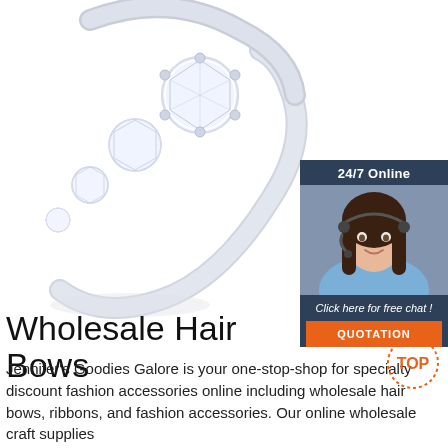[Figure (photo): Close-up photograph of a diamond/crystal ring on white background — multiple round brilliant-cut stones set in a silver/white gold band]
[Figure (infographic): Chat widget with dark blue header reading '24/7 Online', photo of a female customer service representative wearing a headset, dark blue panel with italic text 'Click here for free chat !', and an orange button labeled 'QUOTATION']
Wholesale Hair Bows
Jennifer's Goodies Galore is your one-stop-shop for specialty discount fashion accessories online including wholesale hair bows, ribbons, and fashion accessories. Our online wholesale craft supplies